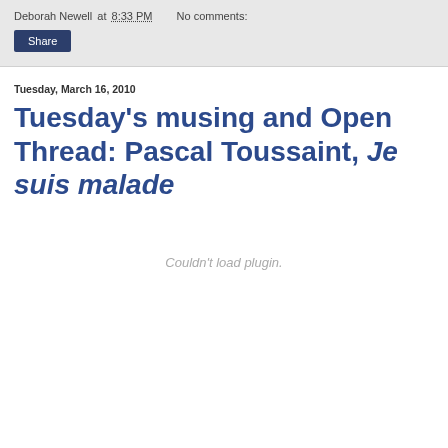Deborah Newell at 8:33 PM   No comments:
Share
Tuesday, March 16, 2010
Tuesday's musing and Open Thread: Pascal Toussaint, Je suis malade
Couldn't load plugin.